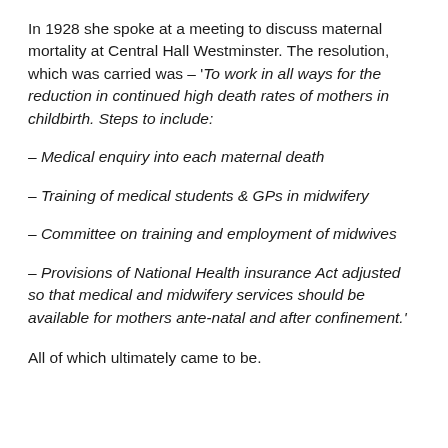In 1928 she spoke at a meeting to discuss maternal mortality at Central Hall Westminster. The resolution, which was carried was – 'To work in all ways for the reduction in continued high death rates of mothers in childbirth. Steps to include:
– Medical enquiry into each maternal death
– Training of medical students & GPs in midwifery
– Committee on training and employment of midwives
– Provisions of National Health insurance Act adjusted so that medical and midwifery services should be available for mothers ante-natal and after confinement.'
All of which ultimately came to be.